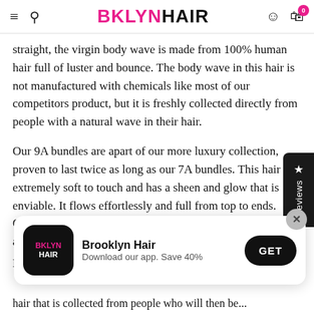BKLYNHAIR
straight, the virgin body wave is made from 100% human hair full of luster and bounce. The body wave in this hair is not manufactured with chemicals like most of our competitors product, but it is freshly collected directly from people with a natural wave in their hair.
Our 9A bundles are apart of our more luxury collection, proven to last twice as long as our 7A bundles. This hair is extremely soft to touch and has a sheen and glow that is enviable. It flows effortlessly and full from top to ends. Once you try these bundles, we will see what the hype is all about.
[Figure (infographic): App download banner for Brooklyn Hair app with logo, app name, tagline 'Download our app. Save 40%', and GET button]
...hair that is collected from people who will then be...